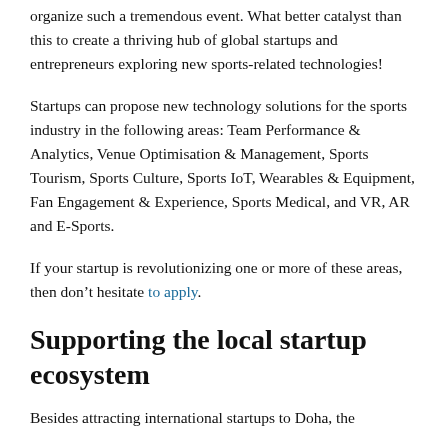organize such a tremendous event. What better catalyst than this to create a thriving hub of global startups and entrepreneurs exploring new sports-related technologies!
Startups can propose new technology solutions for the sports industry in the following areas: Team Performance & Analytics, Venue Optimisation & Management, Sports Tourism, Sports Culture, Sports IoT, Wearables & Equipment, Fan Engagement & Experience, Sports Medical, and VR, AR and E-Sports.
If your startup is revolutionizing one or more of these areas, then don’t hesitate to apply.
Supporting the local startup ecosystem
Besides attracting international startups to Doha, the